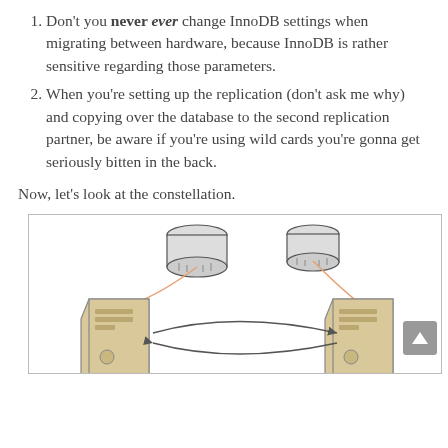Don't you never ever change InnoDB settings when migrating between hardware, because InnoDB is rather sensitive regarding those parameters.
When you're setting up the replication (don't ask me why) and copying over the database to the second replication partner, be aware if you're using wild cards you're gonna get seriously bitten in the back.
Now, let's look at the constellation.
[Figure (network-graph): Diagram showing two MySQL servers (mysql1 and mysql2) with bidirectional replication arrows between them, each connected to a database cylinder above via orange lines.]